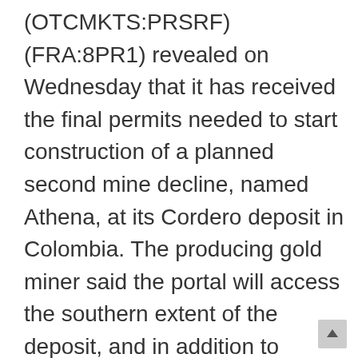(OTCMKTS:PRSRF) (FRA:8PR1) revealed on Wednesday that it has received the final permits needed to start construction of a planned second mine decline, named Athena, at its Cordero deposit in Colombia. The producing gold miner said the portal will access the southern extent of the deposit, and in addition to “improved extraction,” will act as an “access point for personnel and as an emergency escape way.” Construction has already begun, added the company. In a statement, Soma Gold CEO Javier Cordova said: “The approval of the construction permits is excellent news for the company as the new Athena portal will allow for additional mine production from the Cordero deposit at